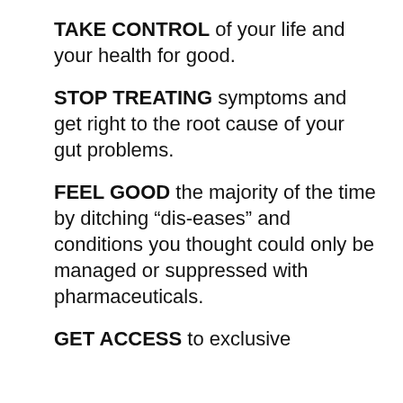TAKE CONTROL of your life and your health for good.
STOP TREATING symptoms and get right to the root cause of your gut problems.
FEEL GOOD the majority of the time by ditching “dis-eases” and conditions you thought could only be managed or suppressed with pharmaceuticals.
GET ACCESS to exclusive